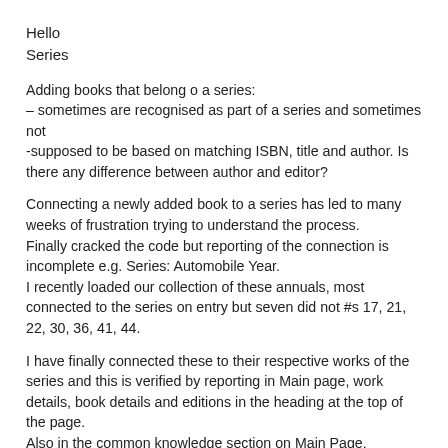Hello
Series
Adding books that belong o a series:
– sometimes are recognised as part of a series and sometimes not
-supposed to be based on matching ISBN, title and author. Is there any difference between author and editor?
Connecting a newly added book to a series has led to many weeks of frustration trying to understand the process.
Finally cracked the code but reporting of the connection is incomplete e.g. Series: Automobile Year.
I recently loaded our collection of these annuals, most connected to the series on entry but seven did not #s 17, 21, 22, 30, 36, 41, 44.
I have finally connected these to their respective works of the series and this is verified by reporting in Main page, work details, book details and editions in the heading at the top of the page.
Also in the common knowledge section on Main Page.
But, is not reported at:
The series column in Your Books screen.
Home/ Stats Memes/Series page – not listed along with the books automatically connected